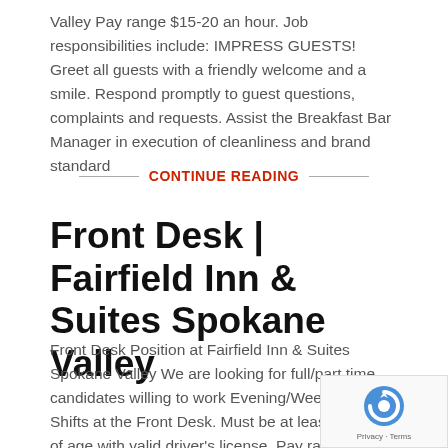Valley Pay range $15-20 an hour. Job responsibilities include: IMPRESS GUESTS! Greet all guests with a friendly welcome and a smile. Respond promptly to guest questions, complaints and requests. Assist the Breakfast Bar Manager in execution of cleanliness and brand standard
CONTINUE READING
Front Desk | Fairfield Inn & Suites Spokane Valley
Front Desk Position at Fairfield Inn & Suites Spokane Valley We are looking for full/part time candidates willing to work Evening/Weekend Shifts at the Front Desk. Must be at least 25 years of age with valid driver's license. Pay range $15-20 an hour. Candidates should meet the following qualifications: Demonstrates and promotes a